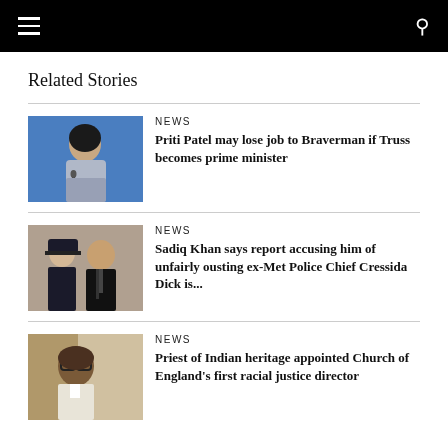Navigation bar with menu and search icons
Related Stories
[Figure (photo): Photo of Priti Patel against a blue background]
NEWS
Priti Patel may lose job to Braverman if Truss becomes prime minister
[Figure (photo): Photo of Sadiq Khan with a police officer in uniform]
NEWS
Sadiq Khan says report accusing him of unfairly ousting ex-Met Police Chief Cressida Dick is...
[Figure (photo): Photo of a man of Indian heritage in clerical attire]
NEWS
Priest of Indian heritage appointed Church of England's first racial justice director